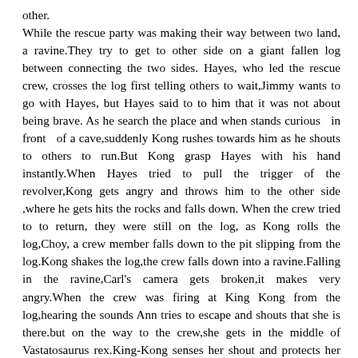other. While the rescue party was making their way between two land, a ravine.They try to get to other side on a giant fallen log between connecting the two sides. Hayes, who led the rescue crew, crosses the log first telling others to wait,Jimmy wants to go with Hayes, but Hayes said to to him that it was not about being brave. As he search the place and when stands curious  in front  of a cave,suddenly Kong rushes towards him as he shouts to others to run.But Kong grasp Hayes with his hand instantly.When Hayes tried to pull the trigger of the revolver,Kong gets angry and throws him to the other side ,where he gets hits the rocks and falls down. When the crew tried to to return, they were still on the log, as Kong rolls the log,Choy, a crew member falls down to the pit slipping from the log.Kong shakes the log,the crew falls down into a ravine.Falling in the ravine,Carl's camera gets broken,it makes very angry.When the crew was firing at King Kong from the log,hearing the sounds Ann tries to escape and shouts that she is there.but on the way to the crew,she gets in the middle of Vastatosaurus rex.King-Kong senses her shout and protects her from three  Vastatosaurus.but to fight with the three was not easy,because they were as big as the King-Kong himself. Then, King-Kong  takes  Ann  to  his  mountain lair,to his